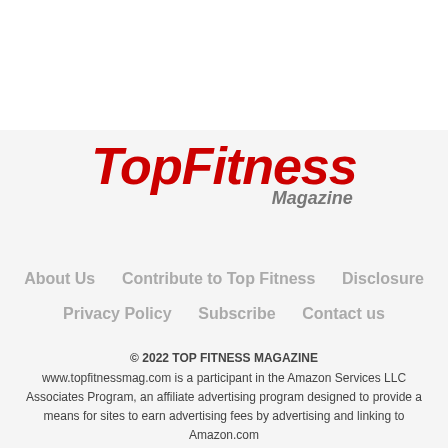[Figure (logo): TopFitness Magazine logo in red bold italic text with 'Magazine' in gray italic below]
About Us   Contribute to Top Fitness   Disclosure   Privacy Policy   Subscribe   Contact us
© 2022 TOP FITNESS MAGAZINE
www.topfitnessmag.com is a participant in the Amazon Services LLC Associates Program, an affiliate advertising program designed to provide a means for sites to earn advertising fees by advertising and linking to Amazon.com
[Figure (photo): Banner advertisement at bottom showing 'Thank you!' with military imagery and Operation Gratitude branding]